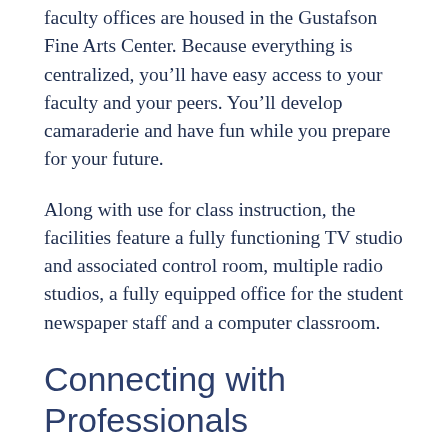faculty offices are housed in the Gustafson Fine Arts Center. Because everything is centralized, you'll have easy access to your faculty and your peers. You'll develop camaraderie and have fun while you prepare for your future.
Along with use for class instruction, the facilities feature a fully functioning TV studio and associated control room, multiple radio studios, a fully equipped office for the student newspaper staff and a computer classroom.
Connecting with Professionals
You'll also have opportunities to attend a variety of workshops, seminars and conferences in order to